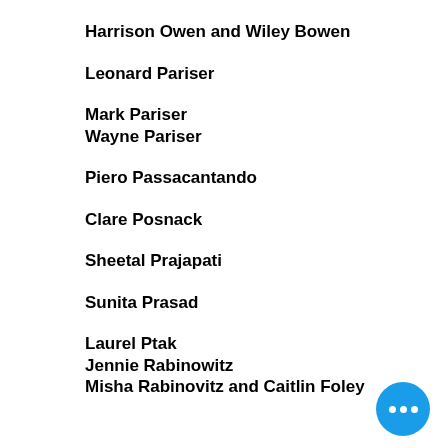Harrison Owen and Wiley Bowen
Leonard Pariser
Mark Pariser
Wayne Pariser
Piero Passacantando
Clare Posnack
Sheetal Prajapati
Sunita Prasad
Laurel Ptak
Jennie Rabinowitz
Misha Rabinovitz and Caitlin Foley